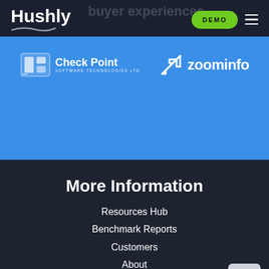Hushly
[Figure (logo): Check Point Software Technologies Ltd. logo in white on blue banner]
[Figure (logo): ZoomInfo logo in white on blue banner]
More Information
Resources Hub
Benchmark Reports
Customers
About
Blog
Login